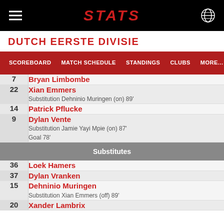STATS
DUTCH EERSTE DIVISIE
SCOREBOARD  MATCH SCHEDULE  STANDINGS  CLUBS  MORE...
| # | Player / Info |
| --- | --- |
| 7 | Bryan Limbombe |
| 22 | Xian Emmers
Substitution Dehninio Muringen (on) 89' |
| 14 | Patrick Pflucke |
| 9 | Dylan Vente
Substitution Jamie Yayi Mpie (on) 87'
Goal 78' |
|  | Substitutes |
| 36 | Loek Hamers |
| 37 | Dylan Vranken |
| 15 | Dehninio Muringen
Substitution Xian Emmers (off) 89' |
| 20 | Xander Lambrix |